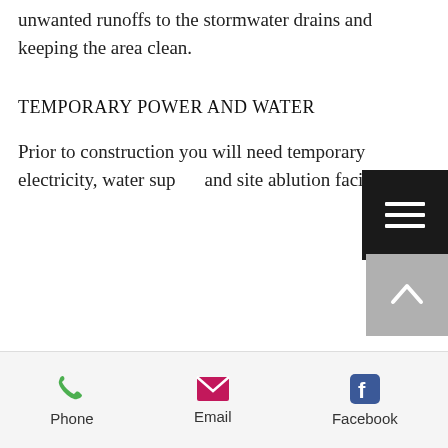unwanted runoffs to the stormwater drains and keeping the area clean.
TEMPORARY POWER AND WATER
Prior to construction you will need temporary electricity, water supply and site ablution facilities
[Figure (other): Hamburger menu button overlay (dark background with three white horizontal lines)]
[Figure (other): Back to top button (grey square with white upward chevron arrow)]
Phone  Email  Facebook